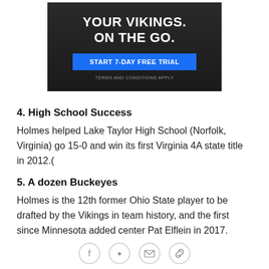[Figure (other): Dark background advertisement banner for Minnesota Vikings streaming service. Bold white text 'YOUR VIKINGS. ON THE GO.' above a blue button reading 'START 7-DAY FREE TRIAL' and small gray text 'TERMS AND CONDITIONS APPLY'.]
4. High School Success
Holmes helped Lake Taylor High School (Norfolk, Virginia) go 15-0 and win its first Virginia 4A state title in 2012.(
5. A dozen Buckeyes
Holmes is the 12th former Ohio State player to be drafted by the Vikings in team history, and the first since Minnesota added center Pat Elflein in 2017. Other Ohio State picks include running back Robert Smith and
Social share icons: Facebook, Twitter, Email, Link